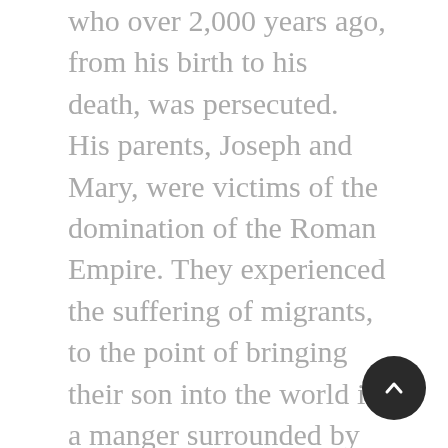who over 2,000 years ago, from his birth to his death, was persecuted. His parents, Joseph and Mary, were victims of the domination of the Roman Empire. They experienced the suffering of migrants, to the point of bringing their son into the world in a manger surrounded by animals, so that they could obey the decree of the Roman Emperor. This journey of Joseph and Mary, with Jesus in her womb, their struggle to find hospitality and acceptance of solidarity with the poor by giving birth to their son in a manger: this is the story of faith that motivates us, and which we celebrate today.